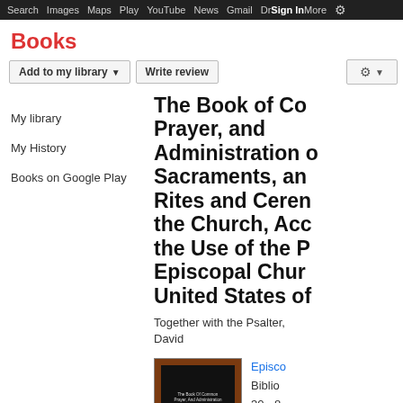Search  Images  Maps  Play  YouTube  News  Gmail  Drive  More  Sign in  ⚙
Books
Add to my library ▼   Write review   ⚙ ▼
My library
My History
Books on Google Play
The Book of Common Prayer, and Administration of Sacraments, and Other Rites and Ceremonies of the Church, According to the Use of the Protestant Episcopal Church in the United States of America
Together with the Psalter, or Psalms of David
[Figure (photo): Book cover of The Book of Common Prayer, dark background with white text]
Episcopal Church
Bibliographic information
30 - 8...